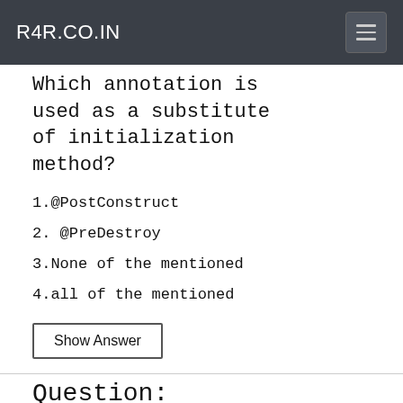R4R.CO.IN
Which annotation is used as a substitute of initialization method?
1.@PostConstruct
2. @PreDestroy
3.None of the mentioned
4.all of the mentioned
Show Answer
Question: